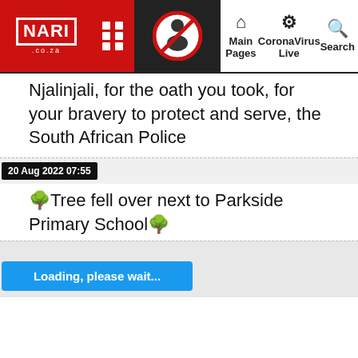[Figure (screenshot): Website navigation bar with NARI logo in red, grid icon, COVID no-support icon, and nav links: Main Pages, CoronaVirus Live, Search]
Njalinjali, for the oath you took, for your bravery to protect and serve, the South African Police
20 Aug 2022 07:55
🌳Tree fell over next to Parkside Primary School🌳
Loading, please wait...